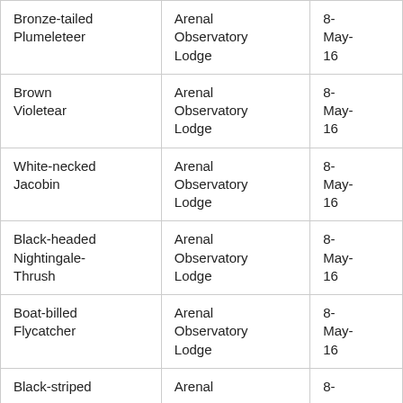| Bronze-tailed Plumeleteer | Arenal Observatory Lodge | 8-May-16 |
| Brown Violetear | Arenal Observatory Lodge | 8-May-16 |
| White-necked Jacobin | Arenal Observatory Lodge | 8-May-16 |
| Black-headed Nightingale-Thrush | Arenal Observatory Lodge | 8-May-16 |
| Boat-billed Flycatcher | Arenal Observatory Lodge | 8-May-16 |
| Black-striped ... | Arenal ... | 8-... |